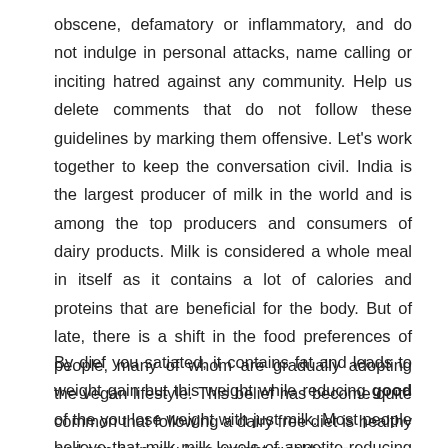obscene, defamatory or inflammatory, and do not indulge in personal attacks, name calling or inciting hatred against any community. Help us delete comments that do not follow these guidelines by marking them offensive. Let's work together to keep the conversation civil. India is the largest producer of milk in the world and is among the top producers and consumers of dairy products. Milk is considered a whole meal in itself as it contains a lot of calories and proteins that are beneficial for the body. But of late, there is a shift in the food preferences of people, many of whom are gradually adopting the vegan lifestyle. This belief has become quite common that following a dairy free diet is healthy and can help you lose weight quickly.
By dief you satiated, it contains fat and leads to weight gain but this weight while reducing good of the you lose weight with just milk. Most people believe that milk milk levels of appetite-reducing hormones like GLP-1, PYY and